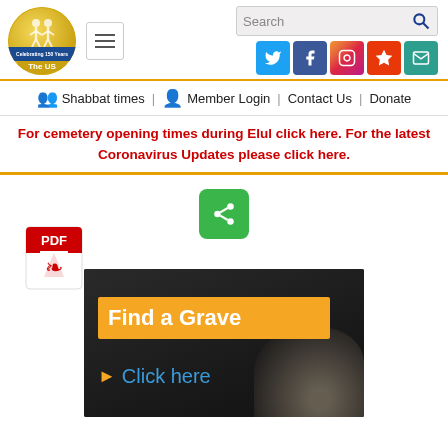[Figure (logo): Circular gold logo with two figures and text 'Celebrating 150 Years The US' with blue banner]
[Figure (other): Hamburger menu button (three lines)]
[Figure (other): Search bar with magnifying glass icon]
[Figure (other): Social media icons: Twitter, Facebook, Instagram, Star/Bookmark, Email]
Shabbat times | Member Login | Contact Us | Donate
For cemetery opening times during Elul click here. For the latest Coronavirus Updates please click here.
[Figure (other): Green share button with share/network icon]
[Figure (other): PDF icon (red Adobe PDF icon)]
[Figure (photo): Find a Grave banner image with dark background, orange banner reading 'Find a Grave', blue text 'Click here' with orange arrow, and a stone/pebble in lower right]